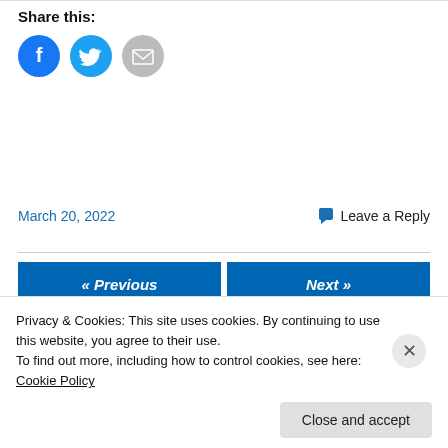Share this:
[Figure (illustration): Three circular social share buttons: Facebook (blue), Twitter (light blue), Email (grey)]
March 20, 2022
Leave a Reply
« Previous
Next »
Privacy & Cookies: This site uses cookies. By continuing to use this website, you agree to their use.
To find out more, including how to control cookies, see here: Cookie Policy
Close and accept